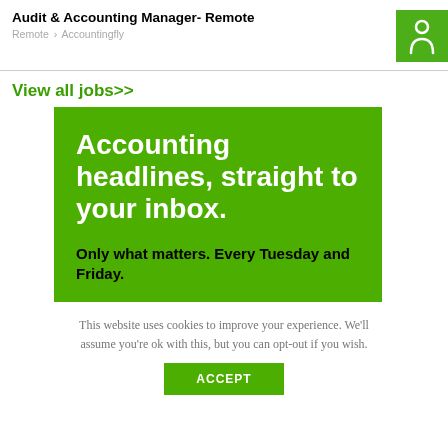Audit & Accounting Manager- Remote
Remote › Accountingfly
View all jobs>>
[Figure (infographic): Green banner advertisement for Accountingfly newsletter. Large white bold text reads 'Accounting headlines, straight to your inbox.' Below in black bold text: 'Only what matters. Every Tuesday and Friday.']
This website uses cookies to improve your experience. We'll assume you're ok with this, but you can opt-out if you wish.
ACCEPT